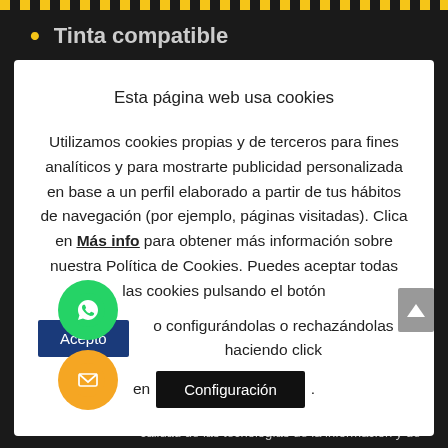Tinta compatible
Esta página web usa cookies
Utilizamos cookies propias y de terceros para fines analíticos y para mostrarte publicidad personalizada en base a un perfil elaborado a partir de tus hábitos de navegación (por ejemplo, páginas visitadas). Clica en Más info para obtener más información sobre nuestra Política de Cookies. Puedes aceptar todas las cookies pulsando el botón Acepto o configurándolas o rechazándolas haciendo click en Configuración.
ficiado del Fondo Europeo de Desarrollo Regional cuyo objetivo es mejorar el uso y la calidad de las tecnologías de la información y de